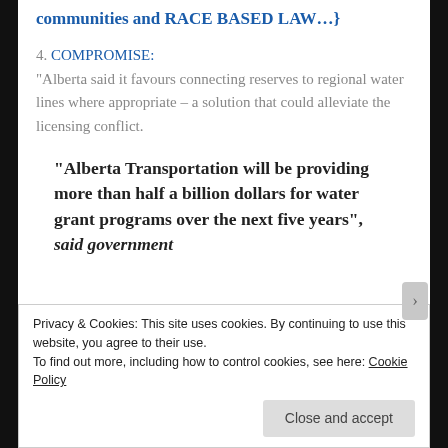communities and RACE BASED LAW…}
4. COMPROMISE:
“Alberta said it favours connecting reserves to regional water lines where appropriate – a solution that could alleviate the licensing conflict.
“Alberta Transportation will be providing more than half a billion dollars for water grant programs over the next five years”, said government
Privacy & Cookies: This site uses cookies. By continuing to use this website, you agree to their use.
To find out more, including how to control cookies, see here: Cookie Policy